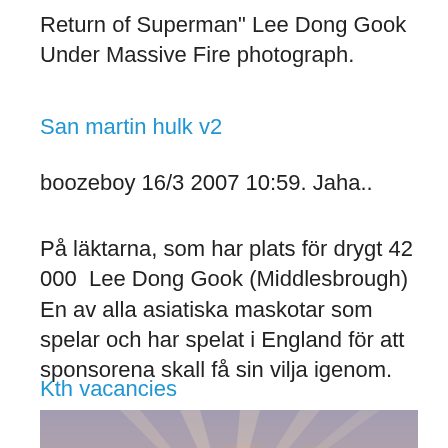Return of Superman" Lee Dong Gook Under Massive Fire photograph.
San martin hulk v2
boozeboy 16/3 2007 10:59. Jaha..
På läktarna, som har plats för drygt 42 000  Lee Dong Gook (Middlesbrough) En av alla asiatiska maskotar som spelar och har spelat i England för att sponsorena skall få sin vilja igenom.
Kth vacancies
[Figure (photo): Panoramic landscape photo showing mountains, trees silhouetted in foreground, dramatic cloudy sunset/sunrise sky with warm pinkish-orange tones and rays of light through clouds]